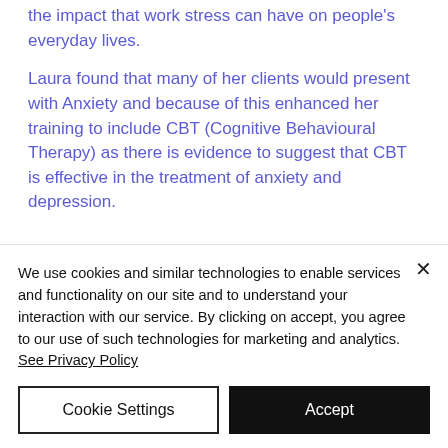the impact that work stress can have on people's everyday lives.
Laura found that many of her clients would present with Anxiety and because of this enhanced her training to include CBT (Cognitive Behavioural Therapy) as there is evidence to suggest that CBT is effective in the treatment of anxiety and depression.
We use cookies and similar technologies to enable services and functionality on our site and to understand your interaction with our service. By clicking on accept, you agree to our use of such technologies for marketing and analytics. See Privacy Policy